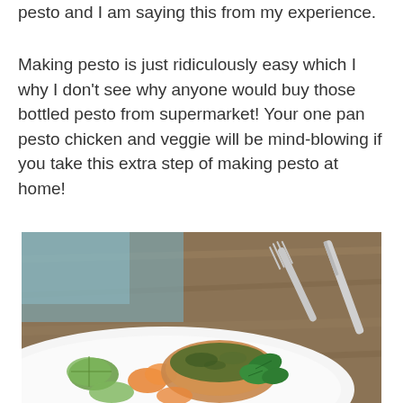pesto and I am saying this from my experience.
Making pesto is just ridiculously easy which I why I don't see why anyone would buy those bottled pesto from supermarket! Your one pan pesto chicken and veggie will be mind-blowing if you take this extra step of making pesto at home!
[Figure (photo): A white bowl containing pesto chicken with roasted vegetables including zucchini, carrots, and fresh basil leaves with green pesto sauce on top. A fork and knife are visible in the background on a wooden surface.]